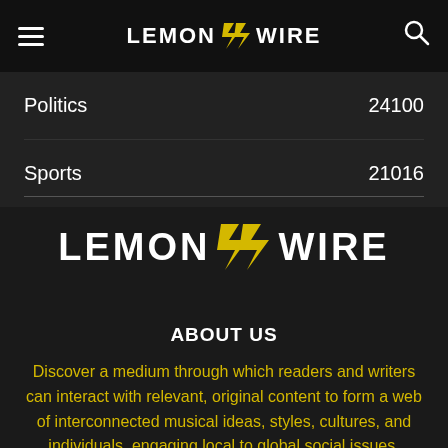LEMON WIRE (with logo icon)
Politics  24100
Sports  21016
[Figure (logo): LemonWire logo centered — white uppercase LEMON followed by yellow zigzag lightning bolt icon followed by white uppercase WIRE]
ABOUT US
Discover a medium through which readers and writers can interact with relevant, original content to form a web of interconnected musical ideas, styles, cultures, and individuals, engaging local to global social issues,